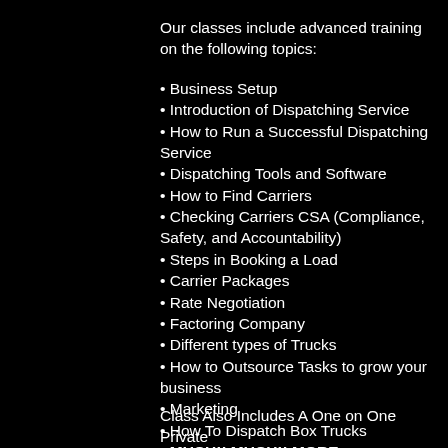Our classes include advanced training on the following topics:
Business Setup
Introduction of Dispatching Service
How to Run a Successful Dispatching Service
Dispatching Tools and Software
How to Find Carriers
Checking Carriers CSA (Compliance, Safety, and Accountability)
Steps in Booking a Load
Carrier Packages
Rate Negotiation
Factoring Company
Different types of Trucks
How to Outsource Tasks to grow your business
Marketing
How To Dispatch Box Trucks
MUCH!! MUCH!! MORE.
Class Also Includes A One on One Private